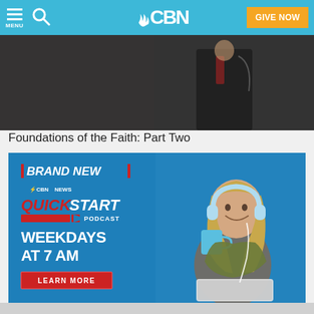CBN — MENU | Search | GIVE NOW
[Figure (screenshot): Dark screenshot of a video scene showing a person in a suit, partially visible]
Foundations of the Faith: Part Two
[Figure (infographic): CBN News QuickStart Podcast advertisement banner. Blue background with text: BRAND NEW | CBN News QuickStart Podcast | WEEKDAYS AT 7 AM | LEARN MORE button. Right side shows a smiling woman wearing white headphones and holding a blue mug.]